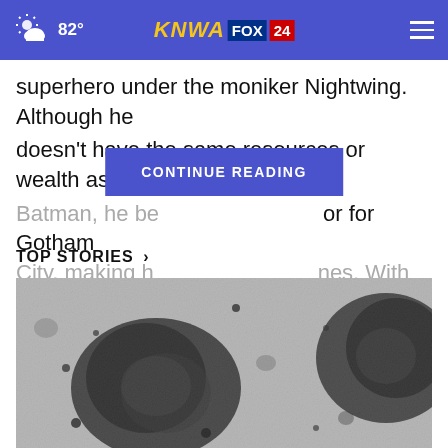82° KNWA FOX 24
superhero under the moniker Nightwing. Although he doesn't have the same resources or wealth as Batman, he be[comes a guardian] for Gotham City, making h[is own heroic] nes. With the
CONTINUE READING
TOP STORIES ›
[Figure (photo): Black and white electron microscope image showing virus particles or microorganisms with irregular, dark oval shapes surrounded by granular texture.]